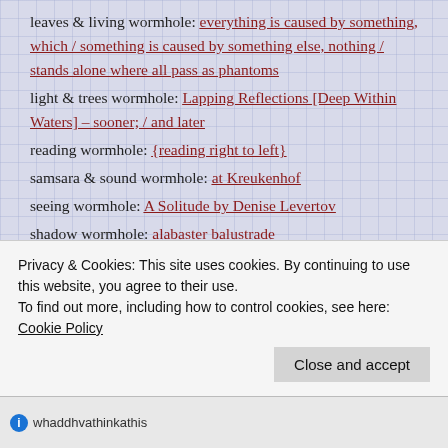leaves & living wormhole: everything is caused by something, which / something is caused by something else, nothing / stands alone where all pass as phantoms
light & trees wormhole: Lapping Reflections [Deep Within Waters] – sooner; / and later
reading wormhole: {reading right to left}
samsara & sound wormhole: at Kreukenhof
seeing wormhole: A Solitude by Denise Levertov
shadow wormhole: alabaster balustrade
wind wormhole: The Boats of Vallisneria by Michael J. Redford – The Valley
Privacy & Cookies: This site uses cookies. By continuing to use this website, you agree to their use. To find out more, including how to control cookies, see here: Cookie Policy
Close and accept
whaddhvathinkathis